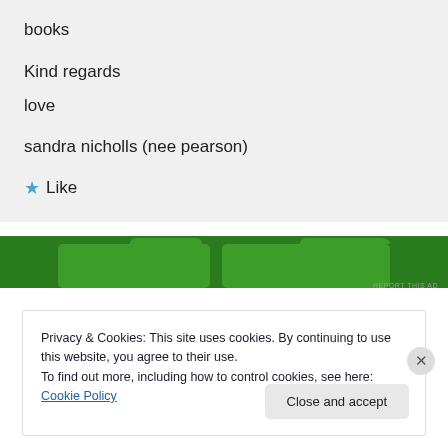books
Kind regards
love
sandra nicholls (nee pearson)
★ Like
[Figure (other): Green advertisement banner with two tab-shaped sections]
REPORT THIS AD
Privacy & Cookies: This site uses cookies. By continuing to use this website, you agree to their use.
To find out more, including how to control cookies, see here: Cookie Policy
Close and accept